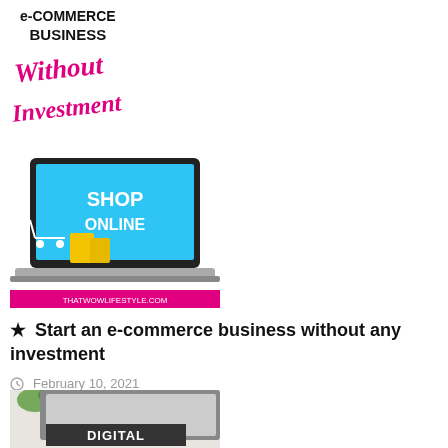[Figure (illustration): e-COMMERCE BUSINESS Without Investment graphic with pink handwritten-style text and black bold sans-serif text on white background]
[Figure (photo): Laptop with 'SHOP ONLINE' on screen, shopping cart and yellow bags, pink banner at bottom reading THATWOWLIFESTYLE.COM]
★ Start an e-commerce business without any investment
February 10, 2021
[Figure (photo): Partial image showing plant, frames, and a dark banner reading DIGITAL]